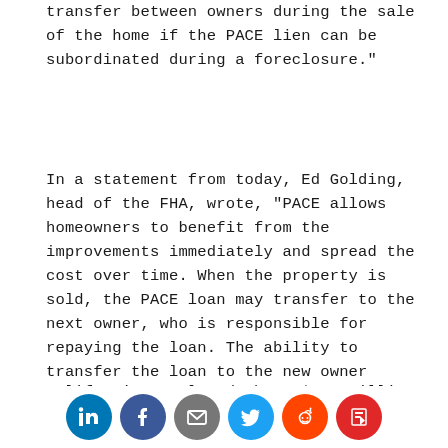transfer between owners during the sale of the home if the PACE lien can be subordinated during a foreclosure."
In a statement from today, Ed Golding, head of the FHA, wrote, “PACE allows homeowners to benefit from the improvements immediately and spread the cost over time. When the property is sold, the PACE loan may transfer to the next owner, who is responsible for repaying the loan. The ability to transfer the loan to the new owner allows for both the payment and the value of the retrofit to be transferred from one owner to the next.”
California completed about $500 million in residential PACE projects for approximately 25,000 homes in 2014, according to PACENow, a nonprofit
[Figure (infographic): Social sharing icons row: LinkedIn (blue), Facebook (dark blue), Email (gray), Twitter (light blue), Reddit (orange), Flipboard (red)]